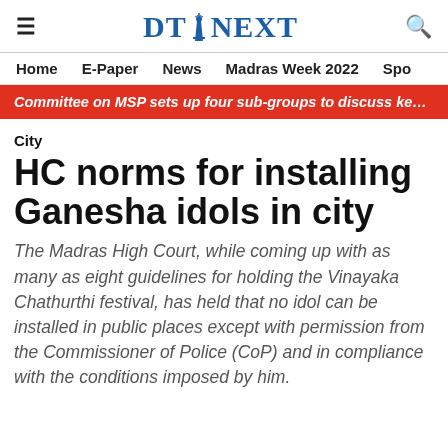DT NEXT
Home  E-Paper  News  Madras Week 2022  Spo
Committee on MSP sets up four sub-groups to discuss key issues: Panel member
City
HC norms for installing Ganesha idols in city
The Madras High Court, while coming up with as many as eight guidelines for holding the Vinayaka Chathurthi festival, has held that no idol can be installed in public places except with permission from the Commissioner of Police (CoP) and in compliance with the conditions imposed by him.